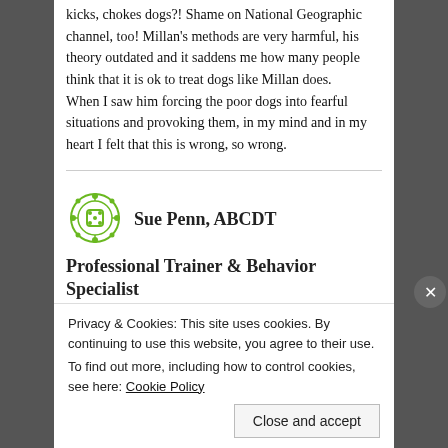kicks, chokes dogs?! Shame on National Geographic channel, too! Millan's methods are very harmful, his theory outdated and it saddens me how many people think that it is ok to treat dogs like Millan does.
When I saw him forcing the poor dogs into fearful situations and provoking them, in my mind and in my heart I felt that this is wrong, so wrong.
[Figure (logo): Green ornamental logo icon]
Sue Penn, ABCDT
Professional Trainer & Behavior Specialist
Privacy & Cookies: This site uses cookies. By continuing to use this website, you agree to their use.
To find out more, including how to control cookies, see here: Cookie Policy